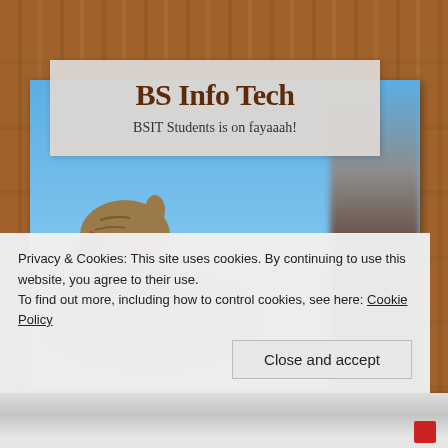[Figure (screenshot): Screenshot of a website header showing 'BS Info Tech' with subtitle 'BSIT Students is on fayaaah!' overlaid on a photo of a camel with desert/blue sky background and a blurred person on the right. A cookie consent banner is visible at the bottom.]
BS Info Tech
BSIT Students is on fayaaah!
Privacy & Cookies: This site uses cookies. By continuing to use this website, you agree to their use.
To find out more, including how to control cookies, see here: Cookie Policy
Close and accept